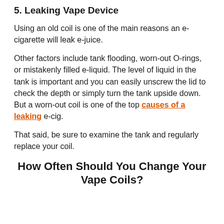5. Leaking Vape Device
Using an old coil is one of the main reasons an e-cigarette will leak e-juice.
Other factors include tank flooding, worn-out O-rings, or mistakenly filled e-liquid. The level of liquid in the tank is important and you can easily unscrew the lid to check the depth or simply turn the tank upside down. But a worn-out coil is one of the top causes of a leaking e-cig.
That said, be sure to examine the tank and regularly replace your coil.
How Often Should You Change Your Vape Coils?